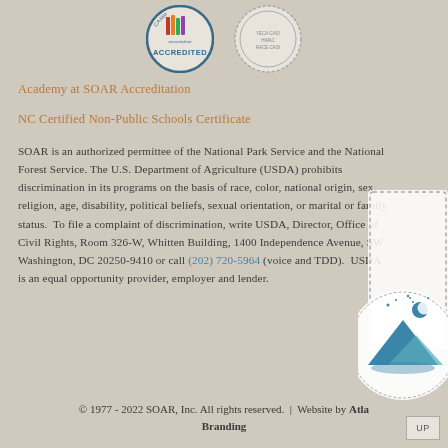[Figure (logo): ACA Camp Association Accredited logo (circle with flag/mountain motif and text ACCREDITED) and a second certification seal (circular badge with text YECA CASI / HWAC / RACE CASI)]
Academy at SOAR Accreditation
NC Certified Non-Public Schools Certificate
SOAR is an authorized permittee of the National Park Service and the National Forest Service. The U.S. Department of Agriculture (USDA) prohibits discrimination in its programs on the basis of race, color, national origin, sex, religion, age, disability, political beliefs, sexual orientation, or marital or family status. To file a complaint of discrimination, write USDA, Director, Office of Civil Rights, Room 326-W, Whitten Building, 1400 Independence Avenue, SW Washington, DC 20250-9410 or call (202) 720-5964 (voice and TDD). USDA is an equal opportunity provider, employer and lender.
[Figure (illustration): Decorative mountain and moon night scene illustration on a circular badge with dashed border, partially visible on the right side of the page]
© 1977 - 2022 SOAR, Inc. All rights reserved. | Website by Atlas Branding